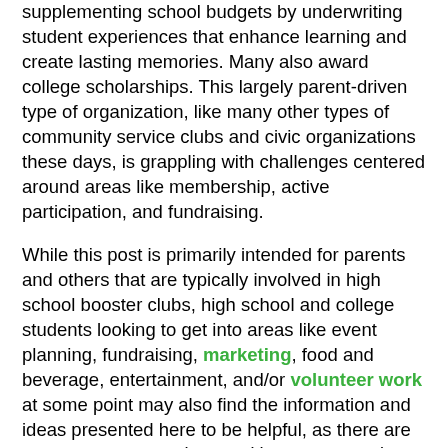supplementing school budgets by underwriting student experiences that enhance learning and create lasting memories. Many also award college scholarships. This largely parent-driven type of organization, like many other types of community service clubs and civic organizations these days, is grappling with challenges centered around areas like membership, active participation, and fundraising.
While this post is primarily intended for parents and others that are typically involved in high school booster clubs, high school and college students looking to get into areas like event planning, fundraising, marketing, food and beverage, entertainment, and/or volunteer work at some point may also find the information and ideas presented here to be helpful, as there are some great suggestions and important trends being discussed.
As with all of my posts, I welcome any questions, feedback, insights, and experiences you may have in the comments section below. Do you have any fundraising and event ideas not discussed in my post that are working well for your own high school booster club? Please feel free to share them in comments below!